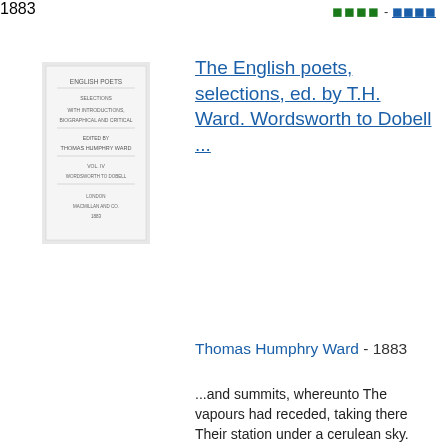◼◼◼◼ - ◼◼◼◼
[Figure (photo): Thumbnail image of a book cover or title page for 'The English Poets, selections, ed. by T.H. Ward']
The English poets, selections, ed. by T.H. Ward. Wordsworth to Dobell ...
Thomas Humphry Ward - 1883
...and summits, whereunto The vapours had receded, taking there Their station under a cerulean sky. Oh, 'twas an unimaginable sight ! Clouds, mists, streams,...Molten together, and composing thus, Each lost in each, that marvellous array Of temple, palace, citadel, and how Fantastic ...